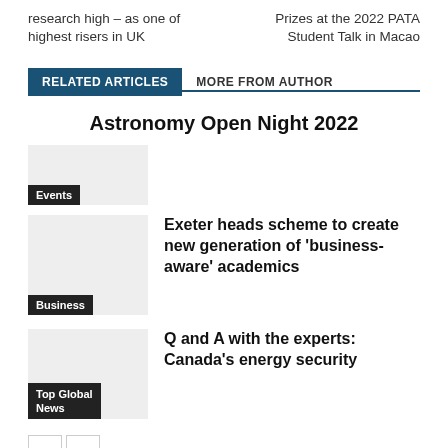research high – as one of highest risers in UK
Prizes at the 2022 PATA Student Talk in Macao
RELATED ARTICLES
MORE FROM AUTHOR
Astronomy Open Night 2022
Events
Exeter heads scheme to create new generation of 'business-aware' academics
Business
Q and A with the experts: Canada's energy security
Top Global News